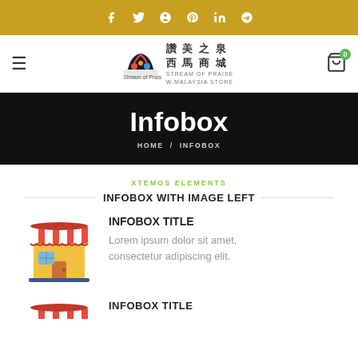Social icons bar: facebook, twitter, pinterest, linkedin, telegram
[Figure (logo): Store logo with Chinese text 讚美之泉 西馬商城 STREAM OF PRAISE W.MALAYSIA STORE and hamburger menu icon on left, cart icon with 0 badge on right]
Infobox
HOME / INFOBOX
XTEMOS ELEMENTS
INFOBOX WITH IMAGE LEFT
INFOBOX TITLE
Lorem ipsum dolor sit amet, consectetur adipiscing elit.
[Figure (illustration): Cartoon store/shop icon with red and white striped awning and yellow building]